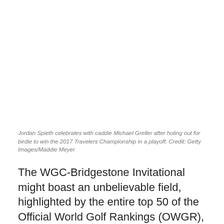Jordan Spieth celebrates with caddie Michael Greller after holing out for birdie to win the 2017 Travelers Championship in a playoff. Credit: Getty Images/Maddie Meyer
The WGC-Bridgestone Invitational might boast an unbelievable field, highlighted by the entire top 50 of the Official World Golf Rankings (OWGR), but many viewers will be keeping an eye on Akron for one reason: Jordan Spieth.